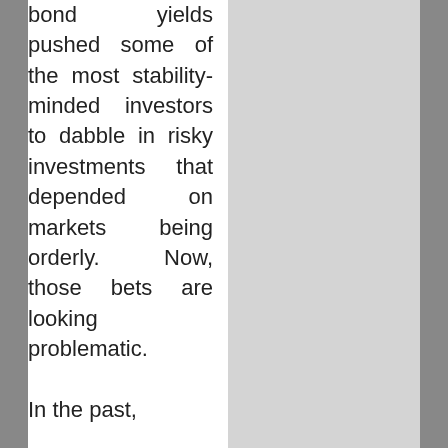bond yields pushed some of the most stability-minded investors to dabble in risky investments that depended on markets being orderly. Now, those bets are looking problematic.

In the past,